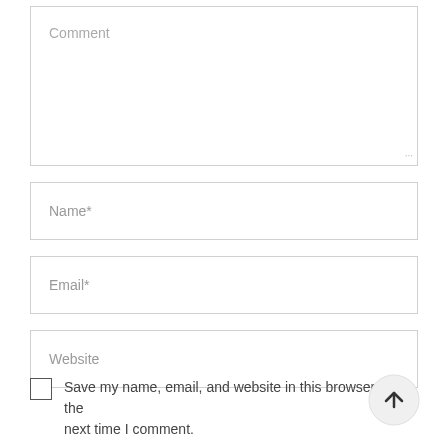[Figure (screenshot): Comment textarea input field with placeholder text 'Comment' and resize handle at bottom-right]
[Figure (screenshot): Name* single-line input field]
[Figure (screenshot): Email* single-line input field]
[Figure (screenshot): Website single-line input field]
Save my name, email, and website in this browser for the next time I comment.